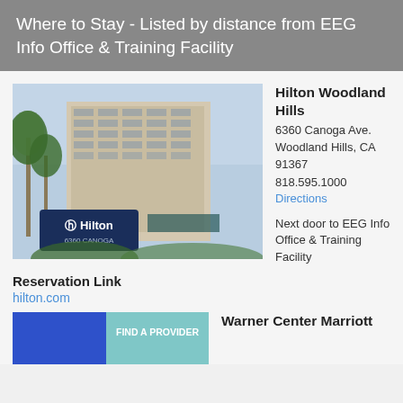Where to Stay - Listed by distance from EEG Info Office & Training Facility
[Figure (photo): Photo of Hilton Woodland Hills hotel building with palm trees and Hilton sign in foreground]
Hilton Woodland Hills
6360 Canoga Ave.
Woodland Hills, CA 91367
818.595.1000
Directions

Next door to EEG Info Office & Training Facility
Reservation Link
hilton.com
[Figure (photo): Blue background image with FIND A PROVIDER teal button overlay]
Warner Center Marriott